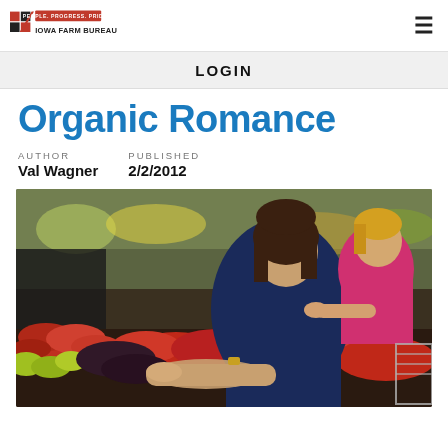Iowa Farm Bureau — PEOPLE. PROGRESS. PRIDE.
LOGIN
Organic Romance
AUTHOR: Val Wagner  PUBLISHED: 2/2/2012
[Figure (photo): A woman holding a young child on her hip while selecting apples at a grocery store produce section. The child is wearing a pink top and pointing at the produce. The woman is wearing a blue top. Red and yellow apples fill the foreground bins.]